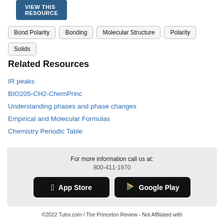VIEW THIS RESOURCE
Bond Polarity
Bonding
Molecular Structure
Polarity
Solids
Related Resources
IR peaks
BIO205-CH2-ChemPrinc
Understanding phases and phase changes
Empirical and Molecular Formulas
Chemistry Periodic Table
For more information call us at:
800-411-1970
App Store
Google Play
©2022 Tutor.com / The Princeton Review - Not Affiliated with